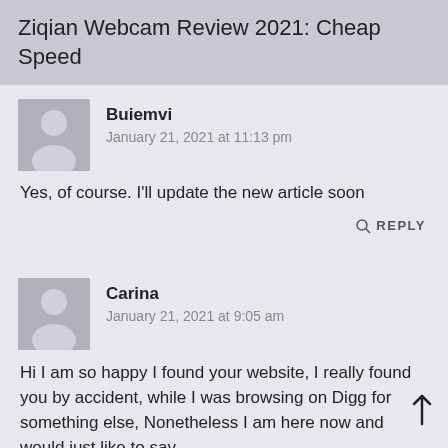Ziqian Webcam Review 2021: Cheap Speed
Buiemvi
January 21, 2021 at 11:13 pm
Yes, of course. I'll update the new article soon
REPLY
Carina
January 21, 2021 at 9:05 am
Hi I am so happy I found your website, I really found you by accident, while I was browsing on Digg for something else, Nonetheless I am here now and would just like to say...